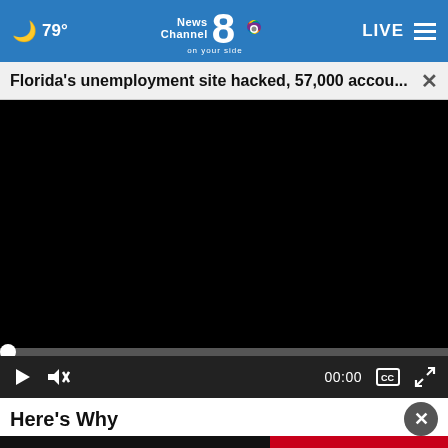🌙 79° | News Channel 8 on your side | LIVE ≡
Florida's unemployment site hacked, 57,000 accou... ×
[Figure (screenshot): Black video player area showing a paused/blank video with progress bar at zero and controls: play button, mute button, 00:00 timestamp, captions button, fullscreen button]
Here's Why
So good! ...
[Figure (screenshot): Advertisement banner: 1-800 ASK-GARY with FREE Auto Accident Helpline on the right side in red]